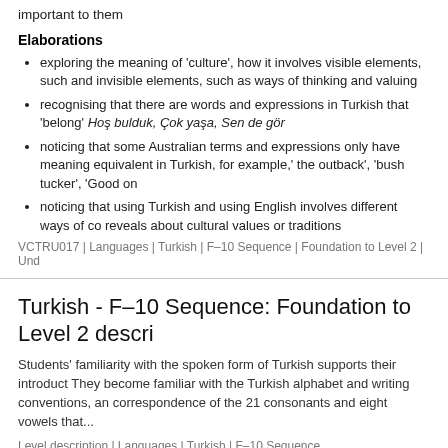important to them
Elaborations
exploring the meaning of 'culture', how it involves visible elements, such and invisible elements, such as ways of thinking and valuing
recognising that there are words and expressions in Turkish that 'belong' Hoş bulduk, Çok yaşa, Sen de gör
noticing that some Australian terms and expressions only have meaning equivalent in Turkish, for example,' the outback', 'bush tucker', 'Good on
noticing that using Turkish and using English involves different ways of co reveals about cultural values or traditions
VCTRU017 | Languages | Turkish | F–10 Sequence | Foundation to Level 2 | Und
Turkish - F–10 Sequence: Foundation to Level 2 descri
Students' familiarity with the spoken form of Turkish supports their introduct They become familiar with the Turkish alphabet and writing conventions, an correspondence of the 21 consonants and eight vowels that...
Level description | Languages | Turkish | F–10 Sequence
Turkish - F–10 Sequence: Foundation to Level 2 achiev
By the end of Level 2, students interact with the teacher and peers to share